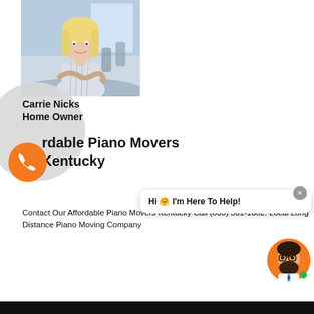[Figure (photo): Professional headshot of a blonde woman smiling with arms crossed in an office/conference room setting]
Carrie Nicks
Home Owner
Affordable Piano Movers Kentucky
Contact Our Affordable Piano Movers Kentucky Call (833) 501-1082. Local Long Distance Piano Moving Company
[Figure (screenshot): Chat widget bubble with text: Hi 🤗 I'm Here To Help! with orange avatar of bearded man with glasses and green online indicator, plus close button]
[Figure (infographic): Bottom navigation bar, dark background]